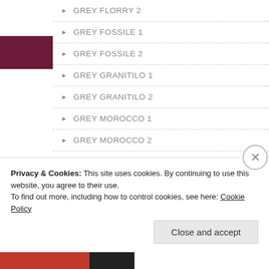GREY FLORRY 2
GREY FOSSILE 1
GREY FOSSILE 2
GREY GRANITILO 1
GREY GRANITILO 2
GREY MOROCCO 1
GREY MOROCCO 2
Grey Morocco Marble
GREY ONYX 1
GREY ONYX 2
Privacy & Cookies: This site uses cookies. By continuing to use this website, you agree to their use.
To find out more, including how to control cookies, see here: Cookie Policy
Close and accept